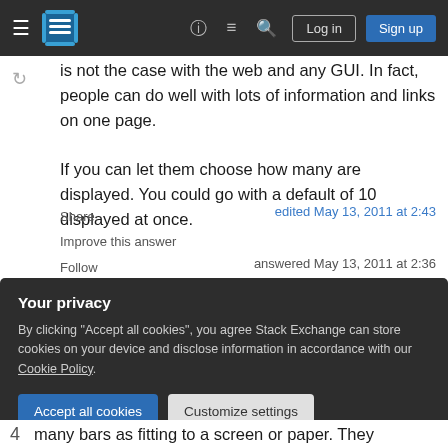Stack Exchange navigation bar with hamburger menu, logo, help, chat, search icons, Log in and Sign up buttons
is not the case with the web and any GUI. In fact, people can do well with lots of information and links on one page.

If you can let them choose how many are displayed. You could go with a default of 10 displayed at once.
Share
Improve this answer
Follow
edited May 13, 2011 at 2:43
answered May 13, 2011 at 2:36
Your privacy
By clicking "Accept all cookies", you agree Stack Exchange can store cookies on your device and disclose information in accordance with our Cookie Policy.
Accept all cookies    Customize settings
4    many bars as fitting to a screen or paper. They